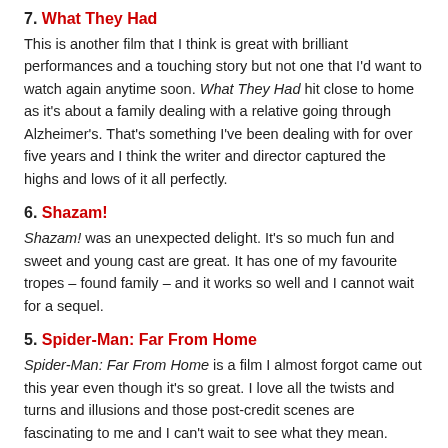7. What They Had
This is another film that I think is great with brilliant performances and a touching story but not one that I'd want to watch again anytime soon. What They Had hit close to home as it's about a family dealing with a relative going through Alzheimer's. That's something I've been dealing with for over five years and I think the writer and director captured the highs and lows of it all perfectly.
6. Shazam!
Shazam! was an unexpected delight. It's so much fun and sweet and young cast are great. It has one of my favourite tropes – found family – and it works so well and I cannot wait for a sequel.
5. Spider-Man: Far From Home
Spider-Man: Far From Home is a film I almost forgot came out this year even though it's so great. I love all the twists and turns and illusions and those post-credit scenes are fascinating to me and I can't wait to see what they mean.
4. Unicorn Store